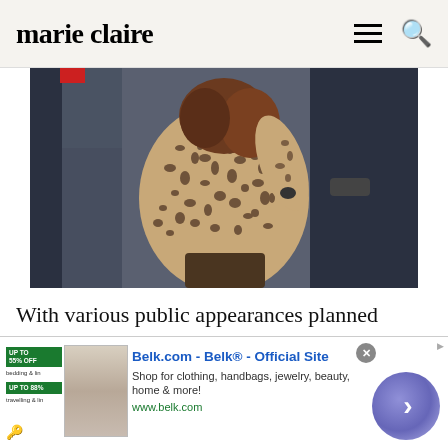marie claire
[Figure (photo): Woman wearing a leopard/animal print coat getting out of or standing near a black car, viewed from behind/side. Brown hair visible.]
With various public appearances planned before Christmas, the Duchess is also expected to attend the British Military Tournament at London's Earls Court Exhibition Centre on 8
[Figure (screenshot): Advertisement banner: Belk.com - Belk® - Official Site. Shop for clothing, handbags, jewelry, beauty, home & more! www.belk.com]